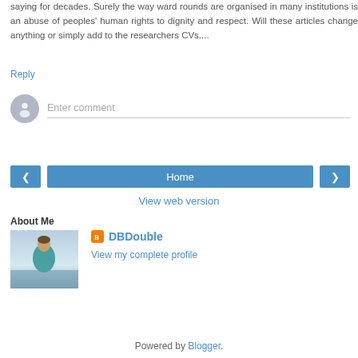saying for decades. Surely the way ward rounds are organised in many institutions is an abuse of peoples' human rights to dignity and respect. Will these articles change anything or simply add to the researchers CVs....
Reply
[Figure (other): Comment input field with user avatar placeholder and 'Enter comment' text]
[Figure (other): Navigation buttons: left arrow, Home (center), right arrow]
View web version
About Me
[Figure (photo): Profile photo of DBDouble - person in teal/blue sweater outdoors near water]
DBDouble
View my complete profile
Powered by Blogger.